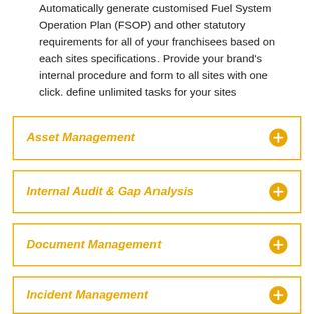Automatically generate customised Fuel System Operation Plan (FSOP) and other statutory requirements for all of your franchisees based on each sites specifications. Provide your brand's internal procedure and form to all sites with one click. define unlimited tasks for your sites
Asset Management
Internal Audit & Gap Analysis
Document Management
Incident Management